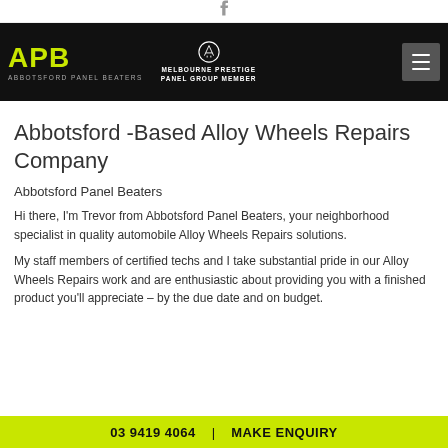f (Facebook icon)
[Figure (logo): APB Abbotsford Panel Beaters logo in yellow-green on black header, alongside Melbourne Prestige Panel Group Member badge and hamburger menu button]
Abbotsford -Based Alloy Wheels Repairs Company
Abbotsford Panel Beaters
Hi there, I'm Trevor from Abbotsford Panel Beaters, your neighborhood specialist in quality automobile Alloy Wheels Repairs solutions.
My staff members of certified techs and I take substantial pride in our Alloy Wheels Repairs work and are enthusiastic about providing you with a finished product you'll appreciate – by the due date and on budget.
03 9419 4064  |  MAKE ENQUIRY